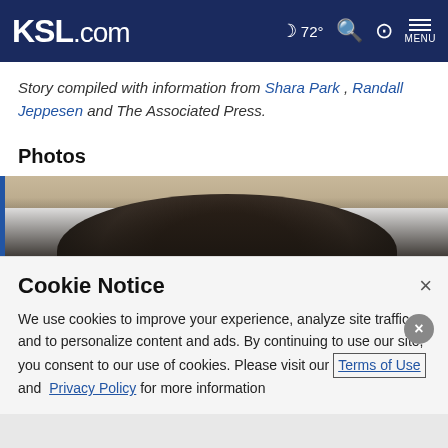KSL.com | 72° menu
Story compiled with information from Shara Park , Randall Jeppesen and The Associated Press.
Photos
[Figure (photo): Partial view of a person's head showing dark hair, top portion cropped]
Cookie Notice
We use cookies to improve your experience, analyze site traffic, and to personalize content and ads. By continuing to use our site, you consent to our use of cookies. Please visit our Terms of Use and Privacy Policy for more information